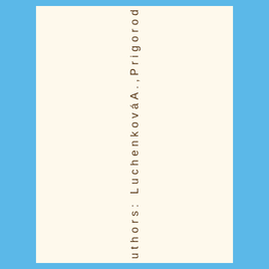authors: LuchenkováA.A.,Prigorod